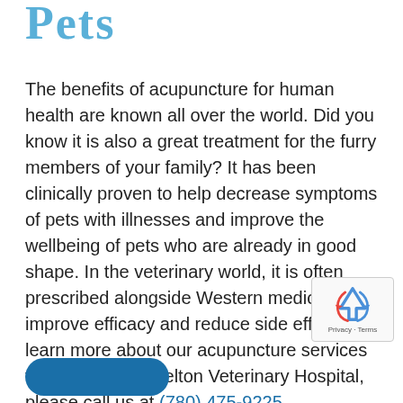Pets
The benefits of acupuncture for human health are known all over the world. Did you know it is also a great treatment for the furry members of your family? It has been clinically proven to help decrease symptoms of pets with illnesses and improve the wellbeing of pets who are already in good shape. In the veterinary world, it is often prescribed alongside Western medicine to improve efficacy and reduce side effects. To learn more about our acupuncture services for pets here at Delton Veterinary Hospital, please call us at (780) 475-9225.